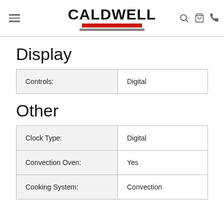CALDWELL
Display
| Controls: | Digital |
Other
| Clock Type: | Digital |
| Convection Oven: | Yes |
| Cooking System: | Convection |